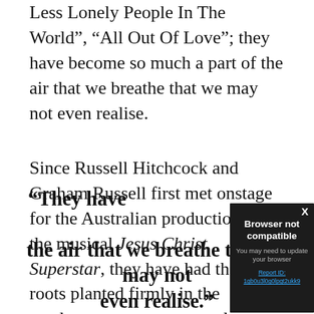Less Lonely People In The World”, “All Out Of Love”; they have become so much a part of the air that we breathe that we may not even realise.
Since Russell Hitchcock and Graham Russell first met onstage for the Australian production of the musical Jesus Christ Superstar, they have had their roots planted firmly in the mech[...] day one, in both th[...] Supply has presen[...] love songs.
[Figure (screenshot): Browser not compatible modal overlay with dark background. Title: 'Browser not compatible'. Subtitle: 'You may need to update your browser'. Link: 'Report ID: 1gb0u3l0g0lpgt2ukk9'. Close button 'X' in top right.]
“They have [become so much a part of] the air that we breathe that we may not even realise.”